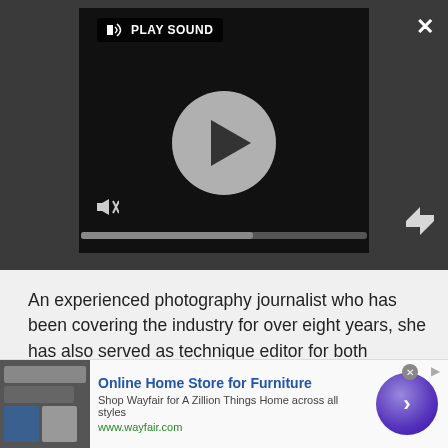[Figure (screenshot): Video player UI with dark background, play button circle in center, 'PLAY SOUND' label top-left, mute icon bottom-left, progress bar at bottom, X close button top-right, expand icon bottom-right]
An experienced photography journalist who has been covering the industry for over eight years, she has also served as technique editor for both PhotoPlus: The Canon MagazinePhotoPlus: The Canon Magazine and DCW's sister publication, Digital Camera Magazine.
In addition to techniques and tutorials that enable you to achieve great results from your
[Figure (screenshot): Advertisement banner: Online Home Store for Furniture - Shop Wayfair for A Zillion Things Home across all styles, www.wayfair.com, with purple circle arrow button]